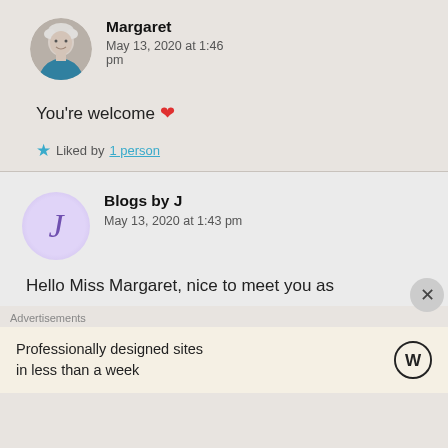[Figure (photo): Round avatar photo of Margaret, an older woman with short light hair]
Margaret
May 13, 2020 at 1:46 pm
You're welcome ❤️
⭐ Liked by 1 person
[Figure (illustration): Round purple avatar with cursive letter J for Blogs by J]
Blogs by J
May 13, 2020 at 1:43 pm
Hello Miss Margaret, nice to meet you as
Advertisements
Professionally designed sites in less than a week